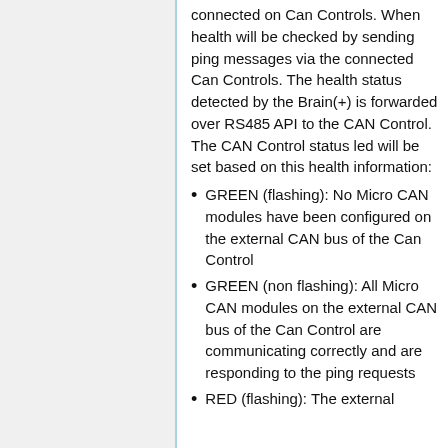connected on Can Controls. When health will be checked by sending ping messages via the connected Can Controls. The health status detected by the Brain(+) is forwarded over RS485 API to the CAN Control. The CAN Control status led will be set based on this health information:
GREEN (flashing): No Micro CAN modules have been configured on the external CAN bus of the Can Control
GREEN (non flashing): All Micro CAN modules on the external CAN bus of the Can Control are communicating correctly and are responding to the ping requests
RED (flashing): The external